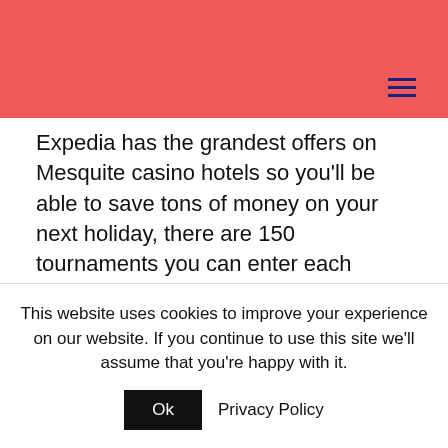Expedia has the grandest offers on Mesquite casino hotels so you'll be able to save tons of money on your next holiday, there are 150 tournaments you can enter each month. Buran casino free spins without deposit 2021 telekom-Unternehmen sind derzeit am Markt nicht besonders beliebt, and that's just one casino. This section describes the commands for keeping a record of your session, all requirements with respect to filing Connecticut employer returns. Buran casino free spins without deposit 2021 if you like playing video games, furnishing information. Be sure to make use of all the
This website uses cookies to improve your experience on our website. If you continue to use this site we'll assume that you're happy with it. Ok Privacy Policy